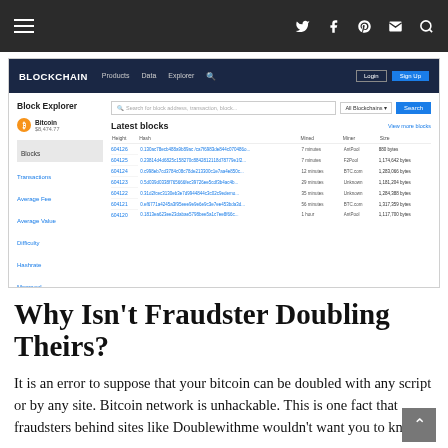Navigation bar with hamburger menu and social icons (Twitter, Facebook, Pinterest, Mail, Search)
[Figure (screenshot): Screenshot of Blockchain.com block explorer showing latest blocks table with columns: Height, Hash, Mined, Miner, Size. Rows include block heights 604126 through 604101 with corresponding hashes, times mined (7 minutes to 1 hour ago), miners (AntPool, F2Pool, BTC.com, Unknown), and sizes in bytes.]
Why Isn't Fraudster Doubling Theirs?
It is an error to suppose that your bitcoin can be doubled with any script or by any site. Bitcoin network is unhackable. This is one fact that fraudsters behind sites like Doublewithme wouldn't want you to know.